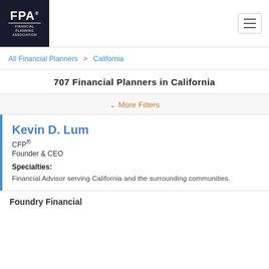FPA Financial Planning Association
All Financial Planners > California
707 Financial Planners in California
More Filters
Kevin D. Lum
CFP®
Founder & CEO
Specialties:
Financial Advisor serving California and the surrounding communities.
Foundry Financial